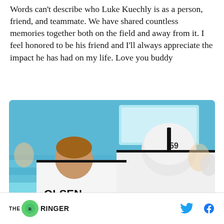Words can't describe who Luke Kuechly is as a person, friend, and teammate. We have shared countless memories together both on the field and away from it. I feel honored to be his friend and I'll always appreciate the impact he has had on my life. Love you buddy
[Figure (photo): Two Carolina Panthers players seen from behind showing jerseys: OLSEN #88 on the left and KUECHLY #59 on the right, standing in a stadium with teal seats and a video board in the background.]
THE RINGER [logo] [Twitter icon] [Facebook icon]